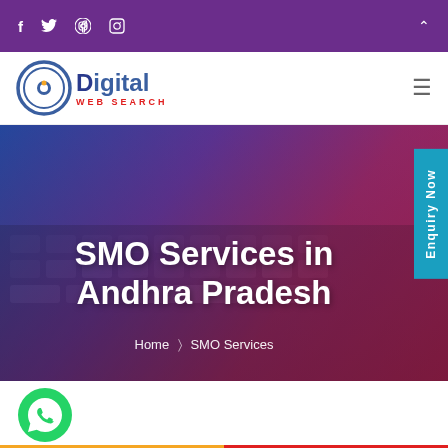Social icons: Facebook, Twitter, LinkedIn, Instagram
[Figure (logo): Digital Web Search logo with circular icon and text]
SMO Services in Andhra Pradesh
Home > SMO Services
[Figure (illustration): WhatsApp contact button (green circle with chat icon)]